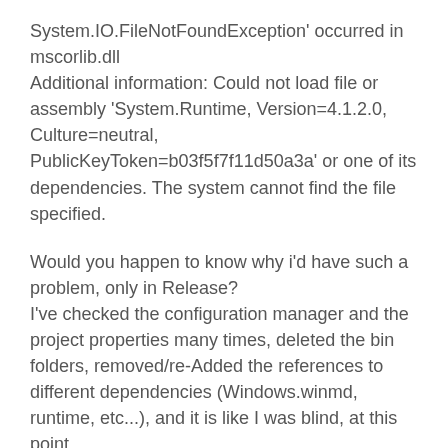System.IO.FileNotFoundException' occurred in mscorlib.dll
Additional information: Could not load file or assembly 'System.Runtime, Version=4.1.2.0, Culture=neutral, PublicKeyToken=b03f5f7f11d50a3a' or one of its dependencies. The system cannot find the file specified.
Would you happen to know why i'd have such a problem, only in Release?
I've checked the configuration manager and the project properties many times, deleted the bin folders, removed/re-Added the references to different dependencies (Windows.winmd, runtime, etc...), and it is like I was blind, at this point...
Thank you for your time,
Have a nice day,